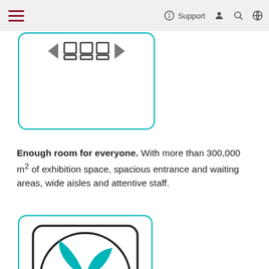Support
[Figure (illustration): Partially visible card with cinema/auditorium seating icon: left arrow, three seat icons, right arrow, on a white rounded-rectangle card with teal border]
Enough room for everyone. With more than 300,000 m² of exhibition space, spacious entrance and waiting areas, wide aisles and attentive staff.
[Figure (illustration): Teal fan/ventilation icon inside a rounded-rectangle card with teal border — a five-blade fan in a circle]